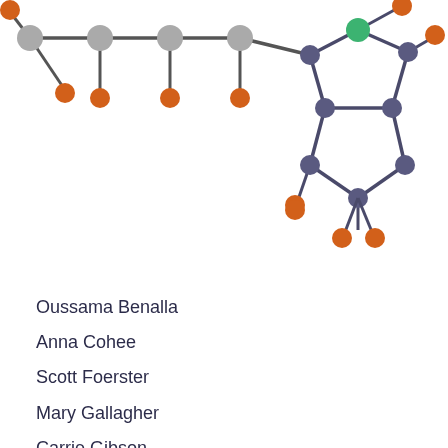[Figure (schematic): 3D molecular structure diagram showing a chain of atoms (grey/white carbon atoms connected by bonds) on the left side, and a bicyclic ring structure on the right side. Orange spheres represent hydrogen or oxygen atoms at bond termini, grey spheres represent carbon atoms along the chain, a green sphere represents a heteroatom (possibly boron or nitrogen) at the top of the ring structure, and dark blue/slate spheres form the ring skeleton.]
Oussama Benalla
Anna Cohee
Scott Foerster
Mary Gallagher
Carrie Gibson
Kathleen Gillespie
Gerald Knight